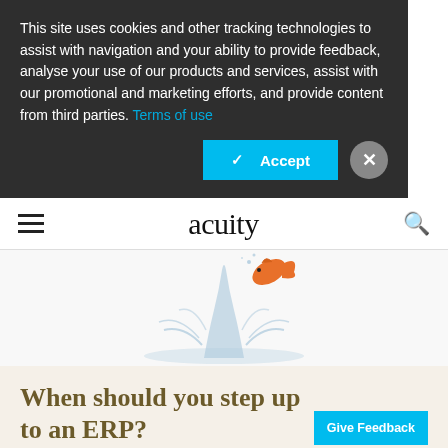This site uses cookies and other tracking technologies to assist with navigation and your ability to provide feedback, analyse your use of our products and services, assist with our promotional and marketing efforts, and provide content from third parties. Terms of use
✓  Accept
[Figure (logo): acuity magazine logo in serif font]
[Figure (photo): A goldfish leaping out of water splash against white/light background]
When should you step up to an ERP?